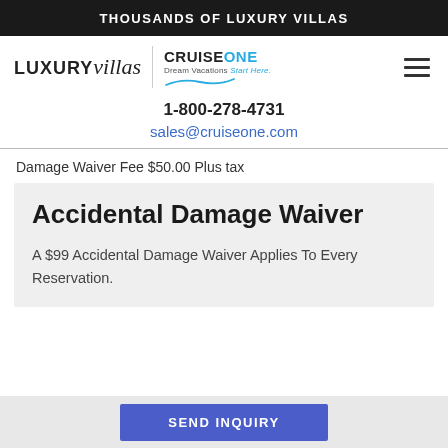THOUSANDS OF LUXURY VILLAS
[Figure (logo): LUXURYvillas logo with vertical divider and CruiseOne Dream Vacations Start Here logo, and hamburger menu icon]
1-800-278-4731
sales@cruiseone.com
Damage Waiver Fee $50.00 Plus tax
Accidental Damage Waiver
A $99 Accidental Damage Waiver Applies To Every Reservation.
SEND INQUIRY